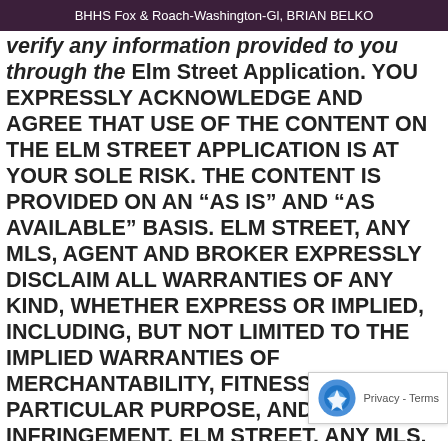BHHS Fox & Roach-Washington-Gl, BRIAN BELKO
verify any information provided to you through the Elm Street Application. YOU EXPRESSLY ACKNOWLEDGE AND AGREE THAT USE OF THE CONTENT ON THE ELM STREET APPLICATION IS AT YOUR SOLE RISK. THE CONTENT IS PROVIDED ON AN “AS IS” AND “AS AVAILABLE” BASIS. ELM STREET, ANY MLS, AGENT AND BROKER EXPRESSLY DISCLAIM ALL WARRANTIES OF ANY KIND, WHETHER EXPRESS OR IMPLIED, INCLUDING, BUT NOT LIMITED TO THE IMPLIED WARRANTIES OF MERCHANTABILITY, FITNESS FOR A PARTICULAR PURPOSE, AND NON-INFRINGEMENT. ELM STREET, ANY MLS, AGENT AND BROKER MAKE NO WARRANTY THAT THE CONTENT WILL MEET YOUR REQUIREMENTS, OR THAT ACCESS TO THE ELM STREET APPLICATION AND THE CONTENT WILL BE UNINTERRUPTED, TIMELY